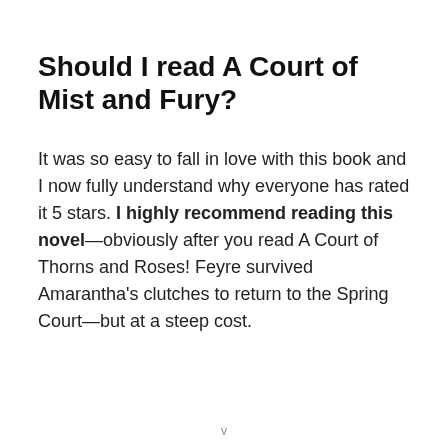Should I read A Court of Mist and Fury?
It was so easy to fall in love with this book and I now fully understand why everyone has rated it 5 stars. I highly recommend reading this novel—obviously after you read A Court of Thorns and Roses! Feyre survived Amarantha’s clutches to return to the Spring Court—but at a steep cost.
v